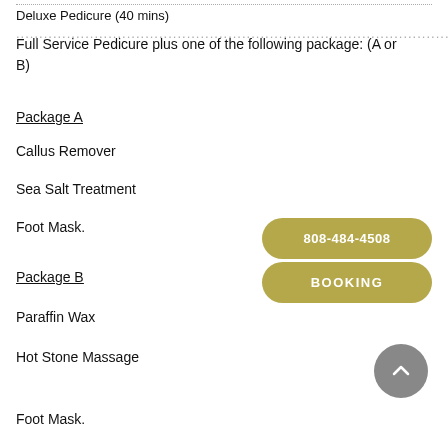Deluxe Pedicure (40 mins) ......
Full Service Pedicure plus one of the following package: (A or B)
Package A
Callus Remover
Sea Salt Treatment
Foot Mask.
Package B
Paraffin Wax
Hot Stone Massage
Foot Mask.